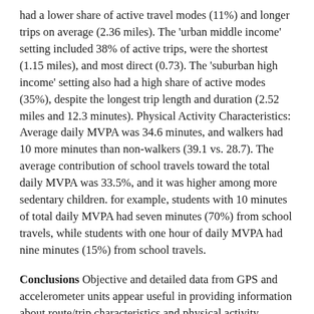had a lower share of active travel modes (11%) and longer trips on average (2.36 miles). The 'urban middle income' setting included 38% of active trips, were the shortest (1.15 miles), and most direct (0.73). The 'suburban high income' setting also had a high share of active modes (35%), despite the longest trip length and duration (2.52 miles and 12.3 minutes). Physical Activity Characteristics: Average daily MVPA was 34.6 minutes, and walkers had 10 more minutes than non-walkers (39.1 vs. 28.7). The average contribution of school travels toward the total daily MVPA was 33.5%, and it was higher among more sedentary children. for example, students with 10 minutes of total daily MVPA had seven minutes (70%) from school travels, while students with one hour of daily MVPA had nine minutes (15%) from school travels.
Conclusions Objective and detailed data from GPS and accelerometer units appear useful in providing information about route/trip characteristics and physical activity implications related to school transportation. Results from these data can guide the future development of policy and environmental